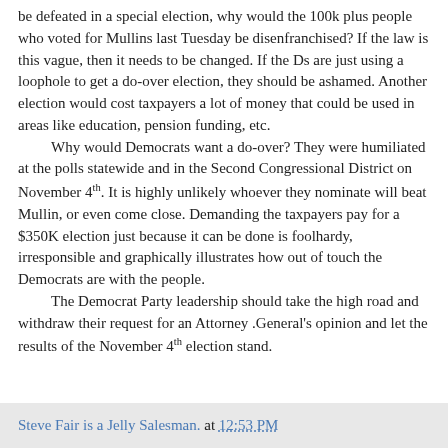be defeated in a special election, why would the 100k plus people who voted for Mullins last Tuesday be disenfranchised?  If the law is this vague, then it needs to be changed.  If the Ds are just using a loophole to get a do-over election, they should be ashamed.  Another election would cost taxpayers a lot of money that could be used in areas like education, pension funding, etc.
Why would Democrats want a do-over?  They were humiliated at the polls statewide and in the Second Congressional District on November 4th.  It is highly unlikely whoever they nominate will beat Mullin, or even come close.  Demanding the taxpayers pay for a $350K election just because it can be done is foolhardy, irresponsible and graphically illustrates how out of touch the Democrats are with the people.
The Democrat Party leadership should take the high road and withdraw their request for an Attorney .General's opinion and let the results of the November 4th election stand.
Steve Fair is a Jelly Salesman. at 12:53 PM